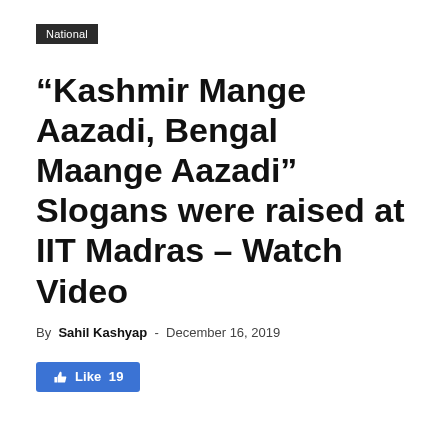National
“Kashmir Mange Aazadi, Bengal Maange Aazadi” Slogans were raised at IIT Madras – Watch Video
By Sahil Kashyap - December 16, 2019
[Figure (other): Facebook Like button showing 19 likes]